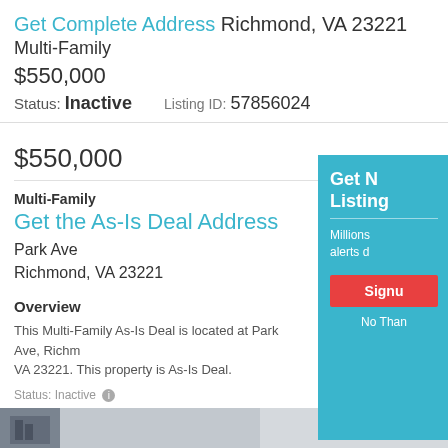Get Complete Address Richmond, VA 23221
Multi-Family
$550,000
Status: Inactive   Listing ID: 57856024
$550,000
Multi-Family
Get the As-Is Deal Address
Park Ave
Richmond, VA 23221
Overview
This Multi-Family As-Is Deal is located at Park Ave, Richmond, VA 23221. This property is As-Is Deal. Save money on this property now.
Status: Inactive   Listing ID: 57856024
[Figure (photo): Bottom photo strip showing property image]
Get New Listings
Millions of alerts daily
Signup
No Thanks